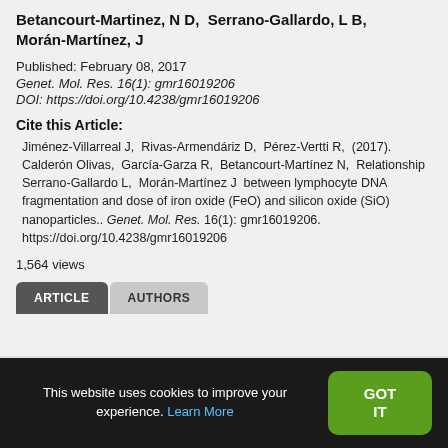Betancourt-Martinez, N D, Serrano-Gallardo, L B, Morán-Martínez, J
Published: February 08, 2017
Genet. Mol. Res. 16(1): gmr16019206
DOI: https://doi.org/10.4238/gmr16019206
Cite this Article:
Jiménez-Villarreal J, Rivas-Armendáriz D, Pérez-Vertti R, (2017). Calderón Olivas, García-Garza R, Betancourt-Martínez N, Relationship Serrano-Gallardo L, Morán-Martínez J between lymphocyte DNA fragmentation and dose of iron oxide (FeO) and silicon oxide (SiO) nanoparticles.. Genet. Mol. Res. 16(1): gmr16019206. https://doi.org/10.4238/gmr16019206
1,564 views
ARTICLE | AUTHORS
This website uses cookies to improve your experience. Learn More | GOT IT